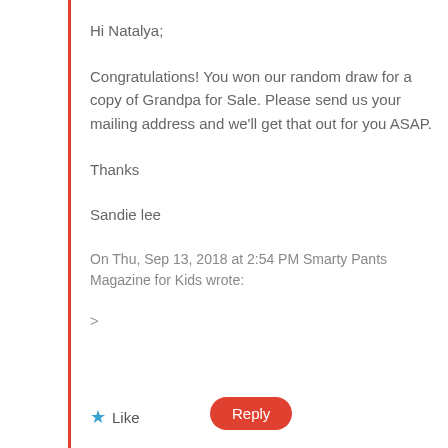Hi Natalya;
Congratulations! You won our random draw for a copy of Grandpa for Sale. Please send us your mailing address and we'll get that out for you ASAP.
Thanks
Sandie lee
On Thu, Sep 13, 2018 at 2:54 PM Smarty Pants Magazine for Kids wrote:
>
★ Like
Reply